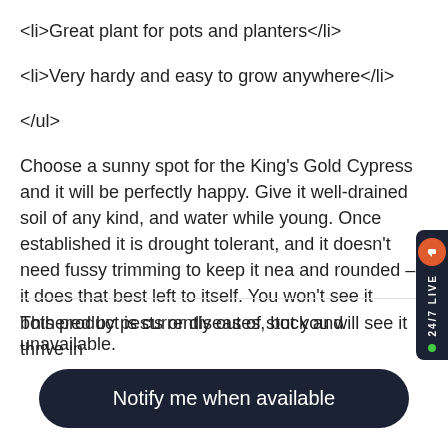<li>Great plant for pots and planters</li>
<li>Very hardy and easy to grow anywhere</li>
</ul>
Choose a sunny spot for the King's Gold Cypress and it will be perfectly happy. Give it well-drained soil of any kind, and water while young. Once established it is drought tolerant, and it doesn't need fussy trimming to keep it neat and rounded – it does that best left to itself. You won't see it bothered by pests or diseases, but you will see it thrive in…
This product is currently out of stock and unavailable.
Notify me when available